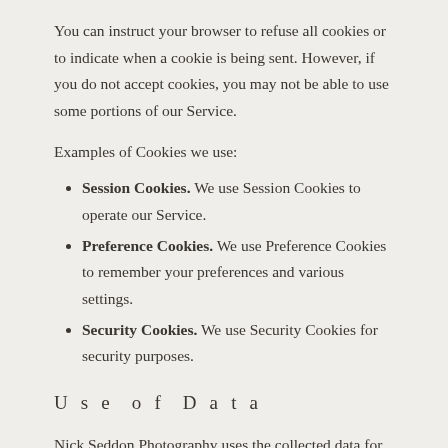You can instruct your browser to refuse all cookies or to indicate when a cookie is being sent. However, if you do not accept cookies, you may not be able to use some portions of our Service.
Examples of Cookies we use:
Session Cookies. We use Session Cookies to operate our Service.
Preference Cookies. We use Preference Cookies to remember your preferences and various settings.
Security Cookies. We use Security Cookies for security purposes.
Use of Data
Nick Seddon Photography uses the collected data for various purposes: